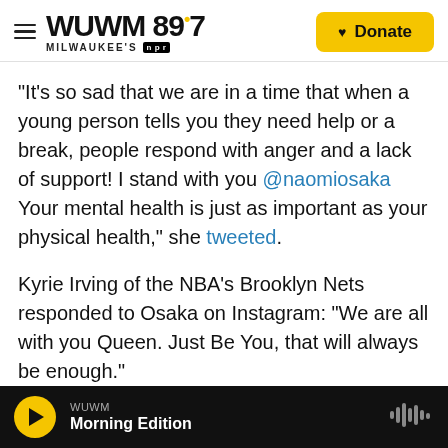WUWM 89.7 MILWAUKEE'S NPR | Donate
"It's so sad that we are in a time that when a young person tells you they need help or a break, people respond with anger and a lack of support! I stand with you @naomiosaka Your mental health is just as important as your physical health," she tweeted.
Kyrie Irving of the NBA's Brooklyn Nets responded to Osaka on Instagram: "We are all with you Queen. Just Be You, that will always be enough."
"Even though it shouldn't have to be like this, I'm proud of you for putting your foot down. Your mental health matters and should always come
WUWM Morning Edition